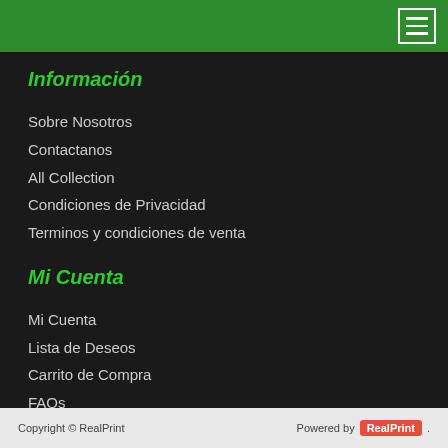[Figure (screenshot): Green navigation bar with hamburger menu button (three white lines in white bordered rectangle) on the right side]
Información
Sobre Nosotros
Contactanos
All Collection
Condiciones de Privacidad
Terminos y condiciones de venta
Mi Cuenta
Mi Cuenta
Lista de Deseos
Carrito de Compra
FAQs
Copyright © RealPrint   Powered by RealPrint.